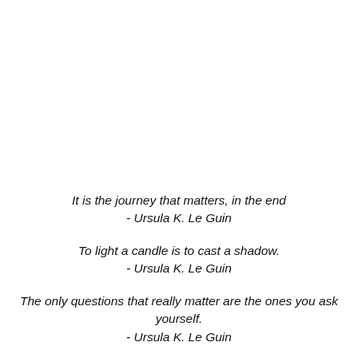It is the journey that matters, in the end
- Ursula K. Le Guin
To light a candle is to cast a shadow.
- Ursula K. Le Guin
The only questions that really matter are the ones you ask yourself.
- Ursula K. Le Guin
There's a point... when you have to choose